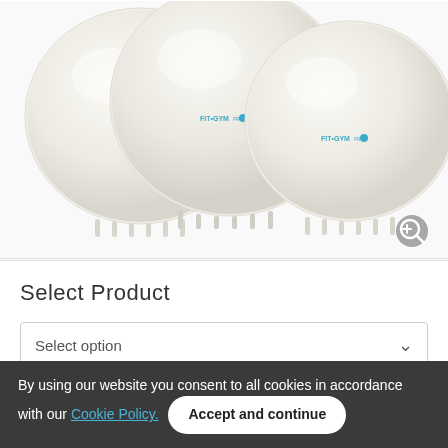[Figure (photo): Three white pearl-colored exercise/yoga balls with small rubber feet/spikes on the bottom, each branded with a blue logo. Balls are arranged side by side, partially cropped at the top. A zoom-in magnifier icon is visible in the lower right corner of the image area.]
Select Product
Select option
By using our website you consent to all cookies in accordance with our Cookie Policy. Accept and continue